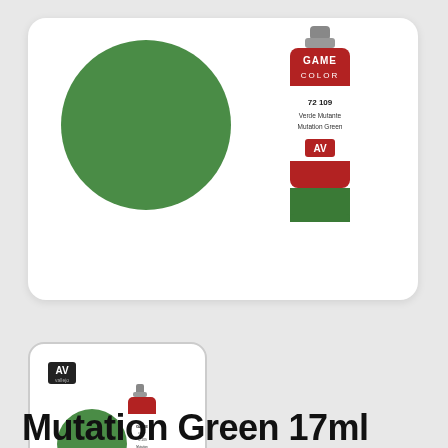[Figure (photo): Large white card showing a green circle color swatch on the left and a Vallejo Game Color 72.109 Verde Mutante / Mutation Green paint bottle on the right]
[Figure (photo): Thumbnail image of Vallejo Game Color Mutation Green paint showing a small green circle swatch and the paint bottle]
Mutation Green 17ml